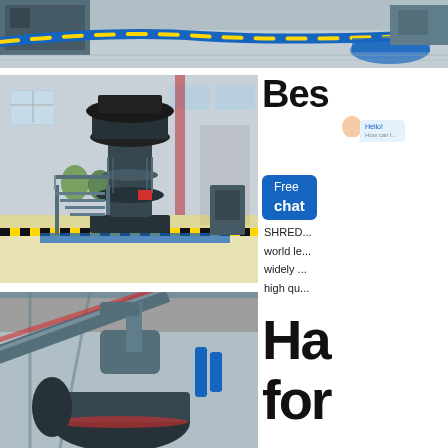[Figure (photo): Top banner showing industrial factory floor with colorful hoses/pipes (blue, yellow) on a shiny concrete floor, machinery visible in background.]
[Figure (photo): Large industrial vertical mill/grinder machine (black) inside a factory building with steel stairs and platform, yellow and black safety striping on floor edge.]
Bes... SHRED... world le... widely ... high qu...
[Figure (photo): Factory interior showing overhead conveyors and a large ball mill or drum machine viewed from below, with steel structure.]
Ha... for ...